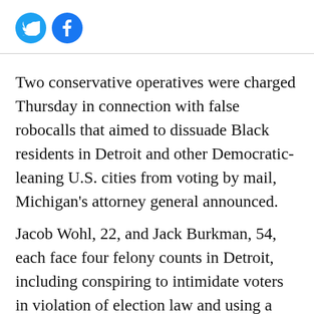[Figure (logo): Twitter and Facebook social share icon buttons (circles with bird and f logos)]
Two conservative operatives were charged Thursday in connection with false robocalls that aimed to dissuade Black residents in Detroit and other Democratic-leaning U.S. cities from voting by mail, Michigan's attorney general announced.
Jacob Wohl, 22, and Jack Burkman, 54, each face four felony counts in Detroit, including conspiring to intimidate voters in violation of election law and using a computer to commit